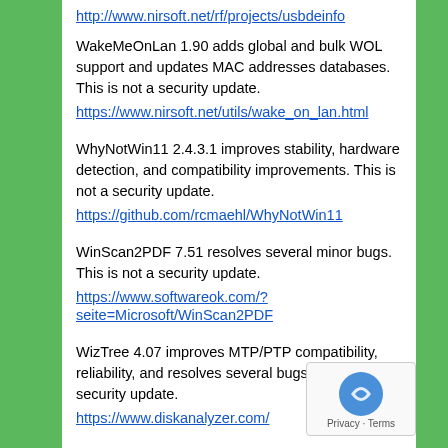http://www.nirsoft.net/rf/projects/usbdeinfo (link at top, truncated)
WakeMeOnLan 1.90 adds global and bulk WOL support and updates MAC addresses databases. This is not a security update.
https://www.nirsoft.net/utils/wake_on_lan.html
WhyNotWin11 2.4.3.1 improves stability, hardware detection, and compatibility improvements. This is not a security update.
https://github.com/rcmaehl/WhyNotWin11
WinScan2PDF 7.51 resolves several minor bugs. This is not a security update.
https://www.softwareok.com/?seite=Microsoft/WinScan2PDF
WizTree 4.07 improves MTP/PTP compatibility, reliability, and resolves several bugs. This is not a security update.
https://www.diskanalyzer.com/
ZoomText 2021 2021.2111.4.400 improves compatibility.